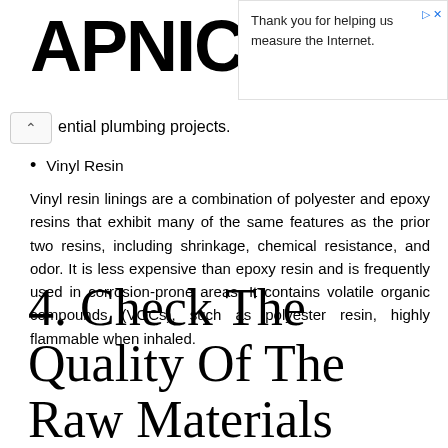APNIC
Thank you for helping us measure the Internet.
ential plumbing projects.
Vinyl Resin
Vinyl resin linings are a combination of polyester and epoxy resins that exhibit many of the same features as the prior two resins, including shrinkage, chemical resistance, and odor. It is less expensive than epoxy resin and is frequently used in corrosion-prone areas. It contains volatile organic compounds (VOCs), such as polyester resin, highly flammable when inhaled.
4. Check The Quality Of The Raw Materials